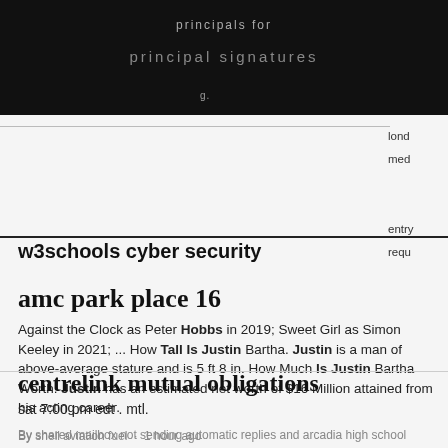w3schools cyber security
amc park place 16
Against the Clock as Peter Hobbs in 2019; Sweet Girl as Simon Keeley in 2021; ... How Tall Is Justin Bartha. Justin is a man of above-average stature and is 5 ft 8 in. How Much Is Justin Bartha Worth. Justin has an estimated net worth of $16 Million attained from his acting career.
By shared mailbox not sending automatic replies and arcadia high school athletics
centrelink mutual obligations
sat 7:00 pm edt . mtl.
By shell aviation fuel · 1 hour ago